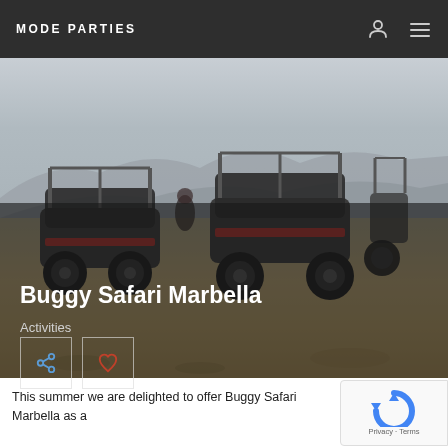MODE PARTIES
[Figure (photo): Outdoor buggy safari vehicles parked on rocky terrain with hazy mountains in background. Two large off-road buggies/UTVs with roll cages visible, people standing nearby.]
Buggy Safari Marbella
Activities
This summer we are delighted to offer Buggy Safari Marbella as a